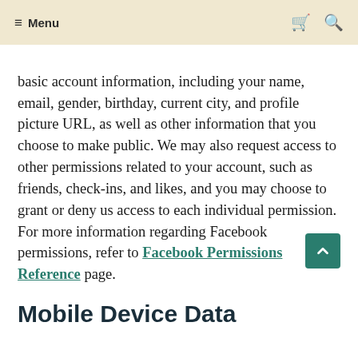≡ Menu
basic account information, including your name, email, gender, birthday, current city, and profile picture URL, as well as other information that you choose to make public. We may also request access to other permissions related to your account, such as friends, check-ins, and likes, and you may choose to grant or deny us access to each individual permission. For more information regarding Facebook permissions, refer to Facebook Permissions Reference page.
Mobile Device Data